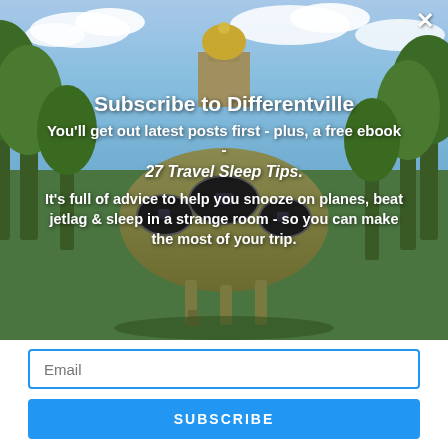[Figure (photo): Background photo of a futuristic dome-shaped Futuro house (yellow/gold spherical structure on stilts) with trees and blue sky, overlaid with white text about subscribing to Differentville newsletter.]
✕
Subscribe to Differentville
You'll get out latest posts first - plus, a free ebook -
27 Travel Sleep Tips.
It's full of advice to help you snooze on planes, beat jetlag & sleep in a strange room - so you can make the most of your trip.
Email
SUBSCRIBE